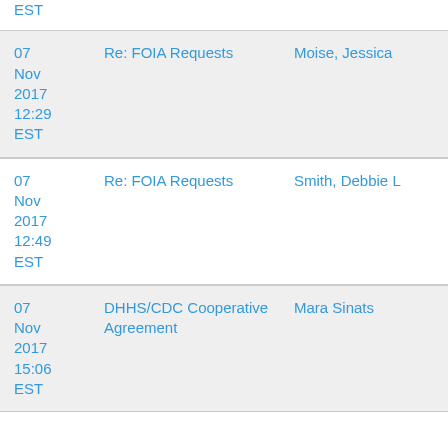EST
| Date | Subject | Sender |
| --- | --- | --- |
| 07 Nov 2017 12:29 EST | Re: FOIA Requests | Moise, Jessica |
| 07 Nov 2017 12:49 EST | Re: FOIA Requests | Smith, Debbie L |
| 07 Nov 2017 15:06 EST | DHHS/CDC Cooperative Agreement | Mara Sinats |